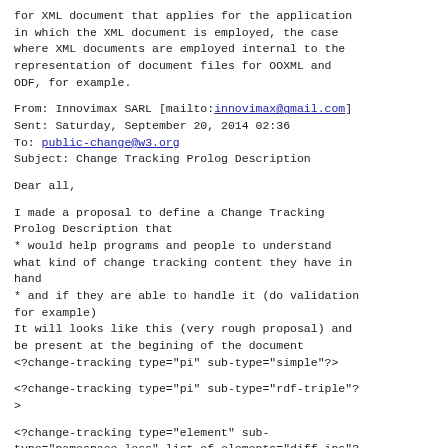for XML document that applies for the application in which the XML document is employed, the case where XML documents are employed internal to the representation of document files for OOXML and ODF, for example.
From: Innovimax SARL [mailto:innovimax@gmail.com]
Sent: Saturday, September 20, 2014 02:36
To: public-change@w3.org
Subject: Change Tracking Prolog Description
Dear all,
I made a proposal to define a Change Tracking Prolog Description that
* would help programs and people to understand what kind of change tracking content they have in hand
* and if they are able to handle it (do validation for example)
It will looks like this (very rough proposal) and be present at the begining of the document
<?change-tracking type="pi" sub-type="simple"?>
<?change-tracking type="pi" sub-type="rdf-triple"?>
<?change-tracking type="element" sub-type="namespace-less" list-of-elements="diff ins"?>